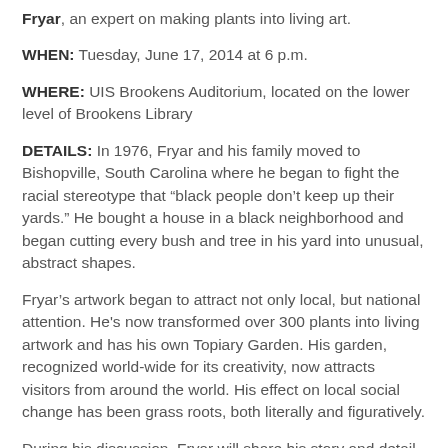Fryar, an expert on making plants into living art.
WHEN: Tuesday, June 17, 2014 at 6 p.m.
WHERE: UIS Brookens Auditorium, located on the lower level of Brookens Library
DETAILS: In 1976, Fryar and his family moved to Bishopville, South Carolina where he began to fight the racial stereotype that “black people don’t keep up their yards.” He bought a house in a black neighborhood and began cutting every bush and tree in his yard into unusual, abstract shapes.
Fryar’s artwork began to attract not only local, but national attention. He's now transformed over 300 plants into living artwork and has his own Topiary Garden. His garden, recognized world-wide for its creativity, now attracts visitors from around the world. His effect on local social change has been grass roots, both literally and figuratively.
During his discussion, Fryar will share his story and detail